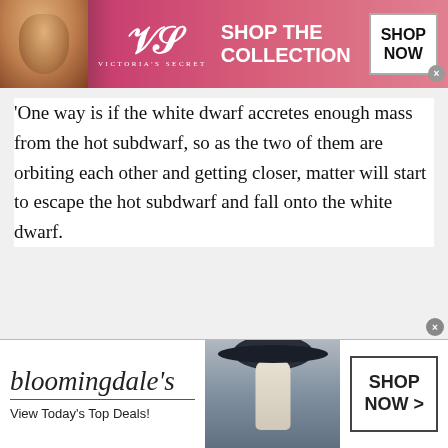[Figure (screenshot): Victoria's Secret advertisement banner with model, VS logo, 'SHOP THE COLLECTION' text, and 'SHOP NOW' button on pink/dark background]
'One way is if the white dwarf accretes enough mass from the hot subdwarf, so as the two of them are orbiting each other and getting closer, matter will start to escape the hot subdwarf and fall onto the white dwarf.
[Figure (screenshot): Bloomingdale's advertisement banner with logo, 'View Today's Top Deals!' tagline, woman with hat photo, and 'SHOP NOW >' button]